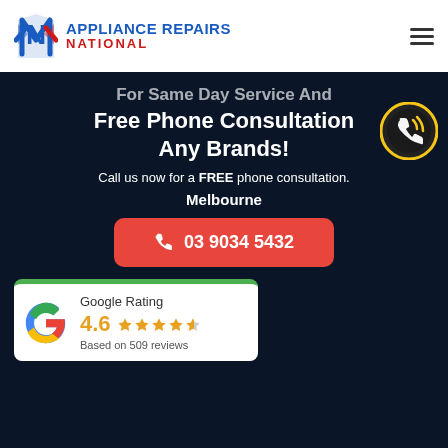[Figure (logo): Appliance Repairs National logo with blue N icon and blue/red text]
For Same Day Service And Free Phone Consultation Any Brands!
Call us now for a FREE phone consultation.
Melbourne
03 9034 5432
Google Rating 4.6 Based on 509 reviews